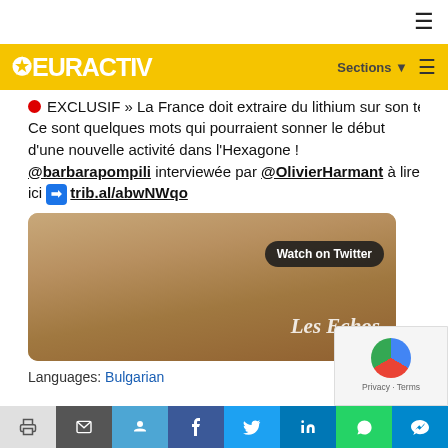EURACTIV
🔴 EXCLUSIF » La France doit extraire du lithium sur son territoire »
Ce sont quelques mots qui pourraient sonner le début d'une nouvelle activité dans l'Hexagone ! @barbarapompili interviewée par @OlivierHarmant à lire ici ➡ trib.al/abwNWqo
[Figure (photo): Photo of a woman (Barbara Pompili) with a 'Watch on Twitter' overlay button and 'Les Echos' text watermark]
Languages: Bulgarian
Share buttons: print, email, reddit, facebook, twitter, linkedin, whatsapp, telegram